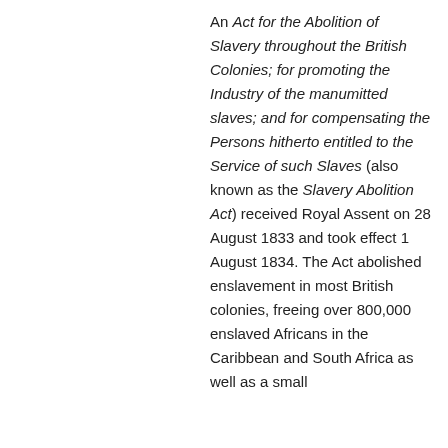An Act for the Abolition of Slavery throughout the British Colonies; for promoting the Industry of the manumitted slaves; and for compensating the Persons hitherto entitled to the Service of such Slaves (also known as the Slavery Abolition Act) received Royal Assent on 28 August 1833 and took effect 1 August 1834. The Act abolished enslavement in most British colonies, freeing over 800,000 enslaved Africans in the Caribbean and South Africa as well as a small